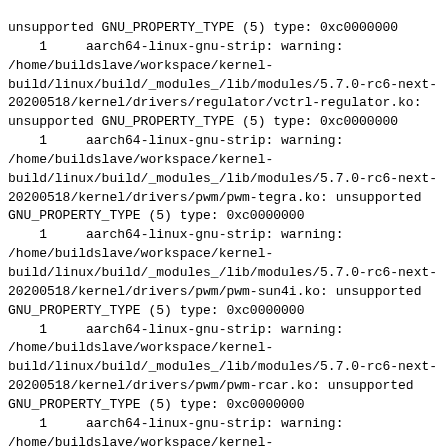unsupported GNU_PROPERTY_TYPE (5) type: 0xc0000000
    1     aarch64-linux-gnu-strip: warning:
/home/buildslave/workspace/kernel-build/linux/build/_modules_/lib/modules/5.7.0-rc6-next-20200518/kernel/drivers/regulator/vctrl-regulator.ko: unsupported GNU_PROPERTY_TYPE (5) type: 0xc0000000
    1     aarch64-linux-gnu-strip: warning:
/home/buildslave/workspace/kernel-build/linux/build/_modules_/lib/modules/5.7.0-rc6-next-20200518/kernel/drivers/pwm/pwm-tegra.ko: unsupported GNU_PROPERTY_TYPE (5) type: 0xc0000000
    1     aarch64-linux-gnu-strip: warning:
/home/buildslave/workspace/kernel-build/linux/build/_modules_/lib/modules/5.7.0-rc6-next-20200518/kernel/drivers/pwm/pwm-sun4i.ko: unsupported GNU_PROPERTY_TYPE (5) type: 0xc0000000
    1     aarch64-linux-gnu-strip: warning:
/home/buildslave/workspace/kernel-build/linux/build/_modules_/lib/modules/5.7.0-rc6-next-20200518/kernel/drivers/pwm/pwm-rcar.ko: unsupported GNU_PROPERTY_TYPE (5) type: 0xc0000000
    1     aarch64-linux-gnu-strip: warning:
/home/buildslave/workspace/kernel-build/linux/build/_modules_/lib/modules/5.7.0-rc6-next-20200518/kernel/drivers/pwm/pwm-meson.ko: unsupported GNU_PROPERTY_TYPE (5) type: 0xc0000000
    1     aarch64-linux-gnu-strip: warning:
/home/buildslave/workspace/kernel-build/linux/build/_modules_/lib/modules/5.7.0-rc6-next-20200518/kernel/drivers/pwm/pwm-cros-ec.ko: unsupported